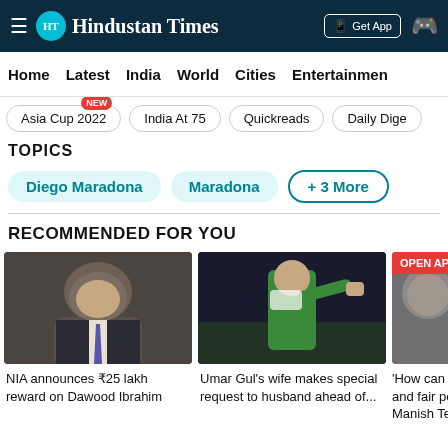Hindustan Times
Home | Latest | India | World | Cities | Entertainment
Asia Cup 2022 NEW | India At 75 | Quickreads | Daily Dige...
TOPICS
Diego Maradona | Maradona | + 3 More
RECOMMENDED FOR YOU
[Figure (photo): Photo of a man in a suit, possibly Dawood Ibrahim]
NIA announces ₹25 lakh reward on Dawood Ibrahim
[Figure (photo): Cricket player in green jersey pointing, likely Umar Gul]
Umar Gul's wife makes special request to husband ahead of...
[Figure (photo): Partial photo of a person, OPEN APP badge visible]
'How can t and fair po Manish Te